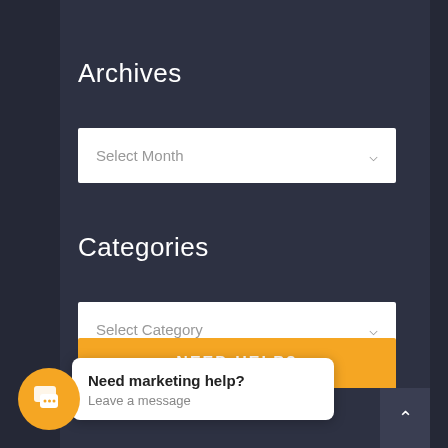Archives
Select Month
Categories
Select Category
NEED HELP?
Need marketing help? Leave a message